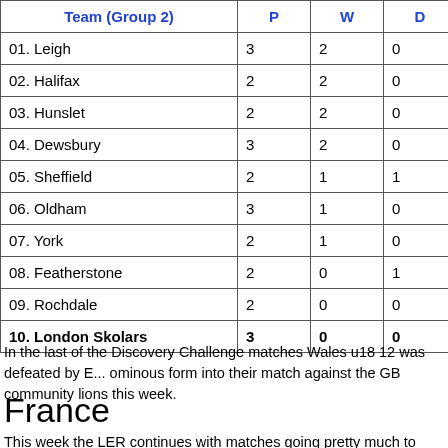| Team (Group 2) | P | W | D | L |
| --- | --- | --- | --- | --- |
| 01. Leigh | 3 | 2 | 0 | 1 |
| 02. Halifax | 2 | 2 | 0 | 0 |
| 03. Hunslet | 2 | 2 | 0 | 0 |
| 04. Dewsbury | 3 | 2 | 0 | 1 |
| 05. Sheffield | 2 | 1 | 1 | 0 |
| 06. Oldham | 3 | 1 | 0 | 2 |
| 07. York | 2 | 1 | 0 | 1 |
| 08. Featherstone | 2 | 0 | 1 | 1 |
| 09. Rochdale | 2 | 0 | 0 | 2 |
| 10. London Skolars | 3 | 0 | 0 | 3 |
In the last of the Discovery Challenge matches Wales u18 12 was defeated by ... ominous form into their match against the GB community lions this week.
France
This week the LER continues with matches going pretty much to script. The top... Lezignan leading the way. Results last weekend were: St Gaudens 12-34 Lezi...